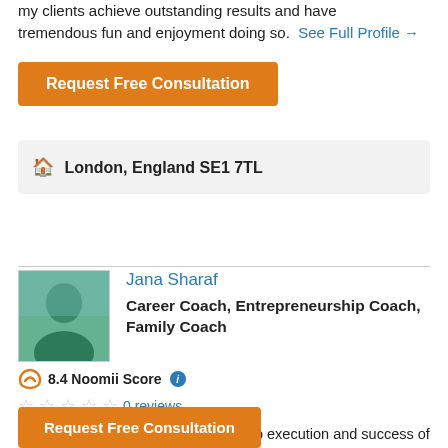my clients achieve outstanding results and have tremendous fun and enjoyment doing so.  See Full Profile →
Request Free Consultation
🏠 London, England SE1 7TL
Jana Sharaf
Career Coach, Entrepreneurship Coach, Family Coach
8.4 Noomii Score ℹ
☆☆☆☆☆ 0 reviews
I coach entrepreneurs from concept to execution and success of a business in the fields of technology, advertising & marketing, food&beverage. I coach divorced familys gain financial freedom.  See Full Profile →